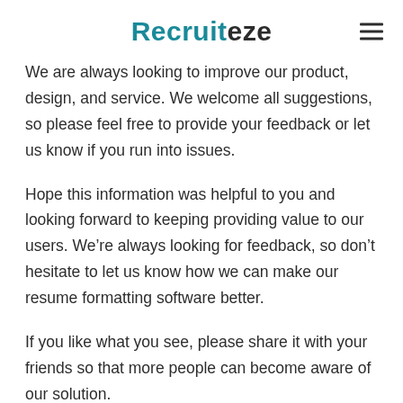Recruiteze
We are always looking to improve our product, design, and service. We welcome all suggestions, so please feel free to provide your feedback or let us know if you run into issues.
Hope this information was helpful to you and looking forward to keeping providing value to our users. We’re always looking for feedback, so don’t hesitate to let us know how we can make our resume formatting software better.
If you like what you see, please share it with your friends so that more people can become aware of our solution.